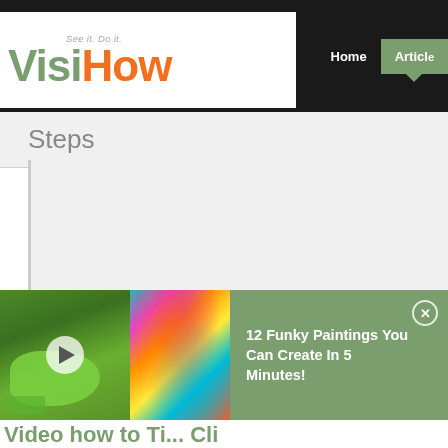VisiHow — See it. Do it. | Home | Articles
Steps
[Figure (screenshot): Video thumbnail showing two images: left is a green paint-filled bag, right is a colorful marbled painting with blue, orange, pink and yellow swirls. A play button is overlaid on the left image.]
12 Funky Paintings You Can Create In 5 Minutes!
Video link / article teaser at bottom (partially visible)